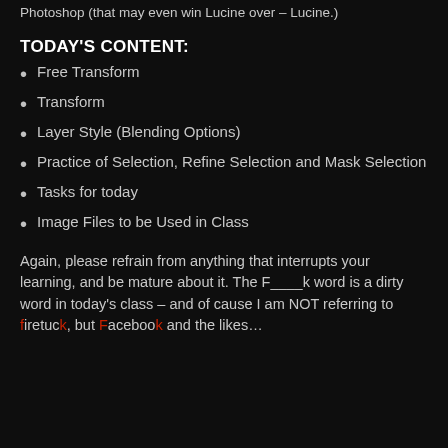Photoshop (that may even win Lucine over – Lucine.)
TODAY'S CONTENT:
Free Transform
Transform
Layer Style (Blending Options)
Practice of Selection, Refine Selection and Mask Selection
Tasks for today
Image Files to be Used in Class
Again, please refrain from anything that interrupts your learning, and be mature about it. The F____k word is a dirty word in today's class – and of cause I am NOT referring to firetruck, but Facebook and the likes…